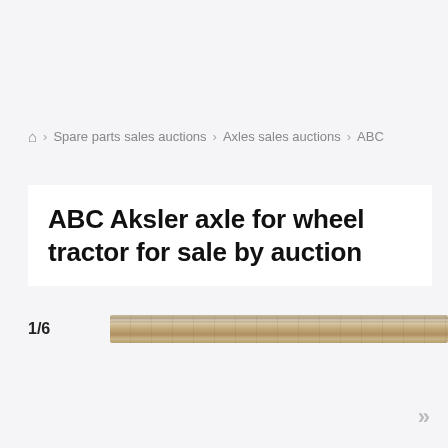🏠 > Spare parts sales auctions > Axles sales auctions > ABC
ABC Aksler axle for wheel tractor for sale by auction
1/6
[Figure (photo): Horizontal view of a tractor axle, shown as a long narrow metallic bar/rod, brownish-tan in color, occupying most of the image width.]